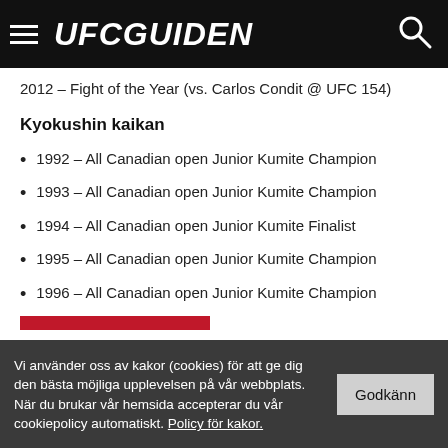UFCGUIDEN
2012 – Fight of the Year (vs. Carlos Condit @ UFC 154)
Kyokushin kaikan
1992 – All Canadian open Junior Kumite Champion
1993 – All Canadian open Junior Kumite Champion
1994 – All Canadian open Junior Kumite Finalist
1995 – All Canadian open Junior Kumite Champion
1996 – All Canadian open Junior Kumite Champion
Vi använder oss av kakor (cookies) för att ge dig den bästa möjliga upplevelsen på vår webbplats. När du brukar vår hemsida accepterar du vår cookiepolicy automatiskt. Policy för kakor.